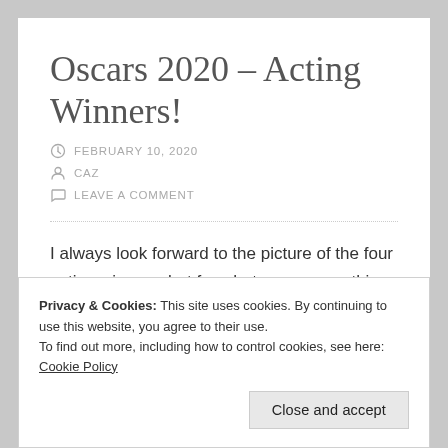Oscars 2020 – Acting Winners!
FEBRUARY 10, 2020
CAZ
LEAVE A COMMENT
I always look forward to the picture of the four acting winners, but for whatever reason this year (so
Privacy & Cookies: This site uses cookies. By continuing to use this website, you agree to their use. To find out more, including how to control cookies, see here: Cookie Policy
Close and accept